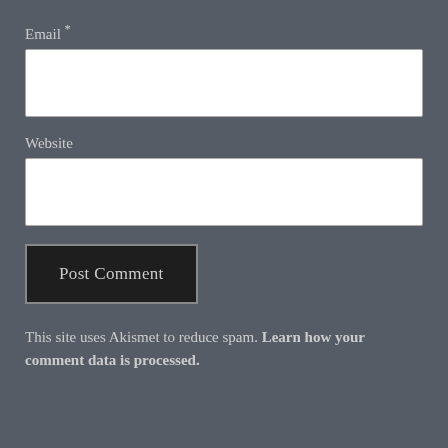Email *
Website
Post Comment
This site uses Akismet to reduce spam. Learn how your comment data is processed.